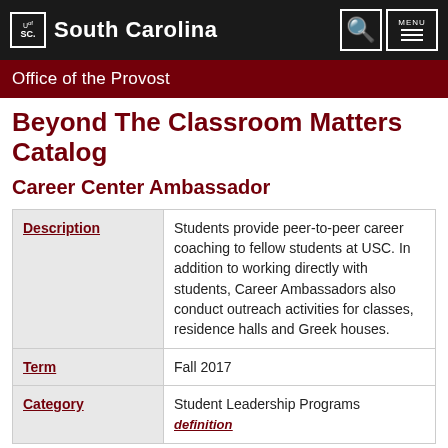South Carolina — Office of the Provost
Beyond The Classroom Matters Catalog
Career Center Ambassador
| Field | Value |
| --- | --- |
| Description | Students provide peer-to-peer career coaching to fellow students at USC. In addition to working directly with students, Career Ambassadors also conduct outreach activities for classes, residence halls and Greek houses. |
| Term | Fall 2017 |
| Category | Student Leadership Programs
definition |